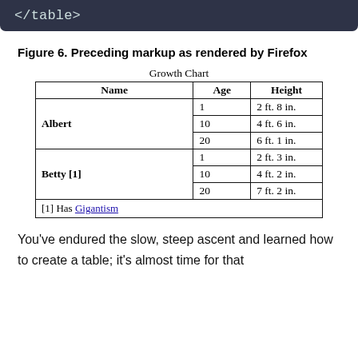[Figure (screenshot): Dark code banner showing closing </table> HTML tag in monospace font on dark background]
Figure 6. Preceding markup as rendered by Firefox
| Name | Age | Height |
| --- | --- | --- |
| Albert | 1 | 2 ft. 8 in. |
| Albert | 10 | 4 ft. 6 in. |
| Albert | 20 | 6 ft. 1 in. |
| Betty [1] | 1 | 2 ft. 3 in. |
| Betty [1] | 10 | 4 ft. 2 in. |
| Betty [1] | 20 | 7 ft. 2 in. |
| [1] Has Gigantism |  |  |
You’ve endured the slow, steep ascent and learned how to create a table; it’s almost time for that